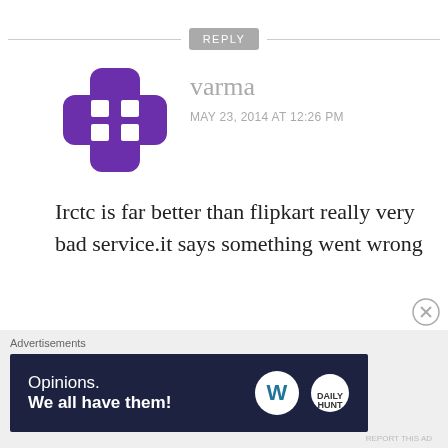[Figure (other): REPLY button with horizontal rule lines on each side at top of page]
[Figure (other): Purple avatar icon resembling a cross/plus shape with white squares]
varma
MAY 23, 2014 AT 12:26 PM
Irctc is far better than flipkart really very bad service.it says something went wrong
★ Like
[Figure (other): REPLY button with horizontal rule lines on each side at bottom of comment]
[Figure (other): Close/X circle button]
Advertisements
[Figure (other): Dark navy ad banner reading Opinions. We all have them! with WordPress and another logo]